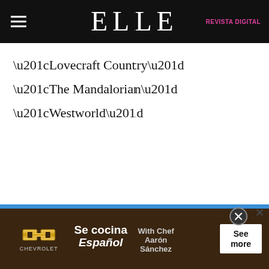ELLE  REVISTA DIGITAL
“Lovecraft Country”
“The Mandalorian”
“Westworld”
[Figure (screenshot): Chevrolet advertisement banner: Se cocina Español With Chef Aarón Sánchez, with See more button]